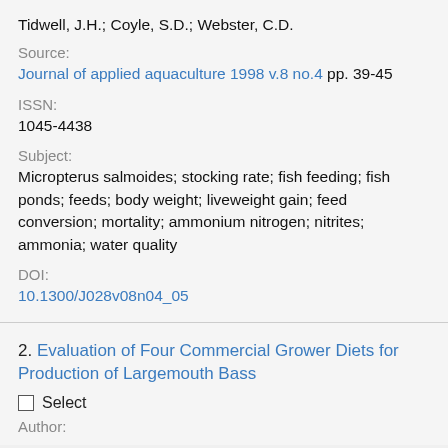Tidwell, J.H.; Coyle, S.D.; Webster, C.D.
Source:
Journal of applied aquaculture 1998 v.8 no.4 pp. 39-45
ISSN:
1045-4438
Subject:
Micropterus salmoides; stocking rate; fish feeding; fish ponds; feeds; body weight; liveweight gain; feed conversion; mortality; ammonium nitrogen; nitrites; ammonia; water quality
DOI:
10.1300/J028v08n04_05
2. Evaluation of Four Commercial Grower Diets for Production of Largemouth Bass
Select
Author:
...